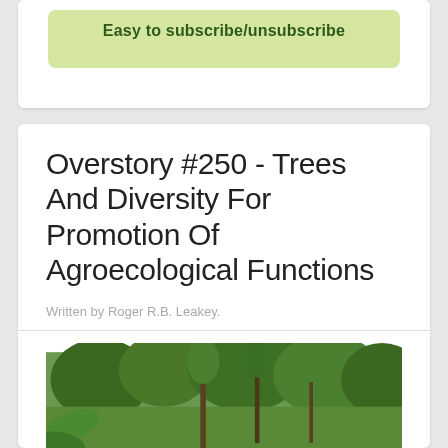Easy to subscribe/unsubscribe
Overstory #250 - Trees And Diversity For Promotion Of Agroecological Functions
Written by Roger R.B. Leakey.
[Figure (photo): A person in a blue shirt standing among dense tropical vegetation and tall trees in an agroforestry or garden setting.]